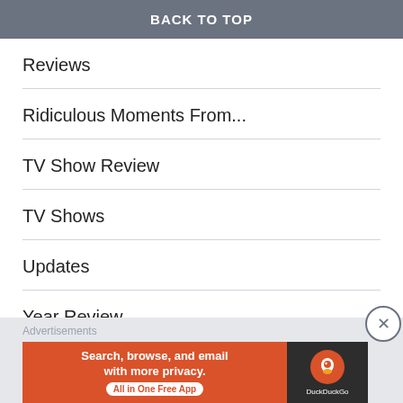BACK TO TOP
Reviews
Ridiculous Moments From...
TV Show Review
TV Shows
Updates
Year Review
Advertisements
[Figure (other): Orange advertisement banner rectangle]
Advertisements
[Figure (other): DuckDuckGo advertisement banner: Search, browse, and email with more privacy. All in One Free App]